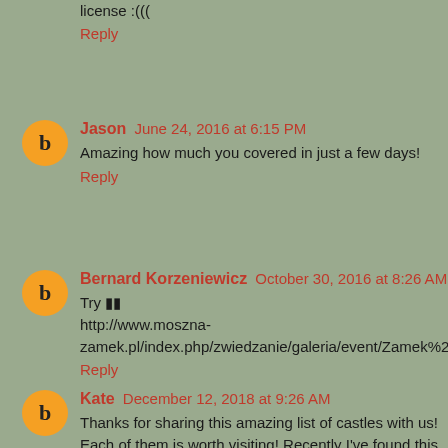license :(((
Reply
Jason June 24, 2016 at 6:15 PM
Amazing how much you covered in just a few days!
Reply
Bernard Korzeniewicz October 30, 2016 at 8:26 AM
Try ■■
http://www.moszna-zamek.pl/index.php/zwiedzanie/galeria/event/Zamek%20i%20park
Reply
Kate December 12, 2018 at 9:26 AM
Thanks for sharing this amazing list of castles with us! Each of them is worth visiting! Recently I've found this list